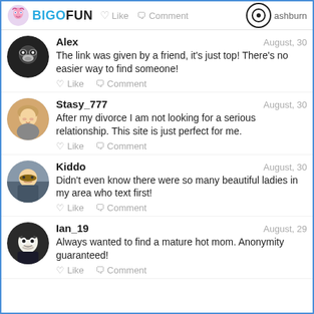BIGOFUN | Like | Comment | ashburn
Alex | August, 30 | The link was given by a friend, it's just top! There's no easier way to find someone!
Stasy_777 | August, 30 | After my divorce I am not looking for a serious relationship. This site is just perfect for me.
Kiddo | August, 30 | Didn't even know there were so many beautiful ladies in my area who text first!
Ian_19 | August, 29 | Always wanted to find a mature hot mom. Anonymity guaranteed!